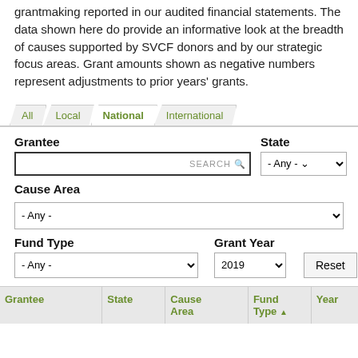grantmaking reported in our audited financial statements. The data shown here do provide an informative look at the breadth of causes supported by SVCF donors and by our strategic focus areas. Grant amounts shown as negative numbers represent adjustments to prior years' grants.
[Figure (screenshot): Tab navigation with four tabs: All, Local, National (active), International]
Grantee
State
Cause Area
Fund Type
Grant Year
| Grantee | State | Cause Area | Fund Type | Year |
| --- | --- | --- | --- | --- |